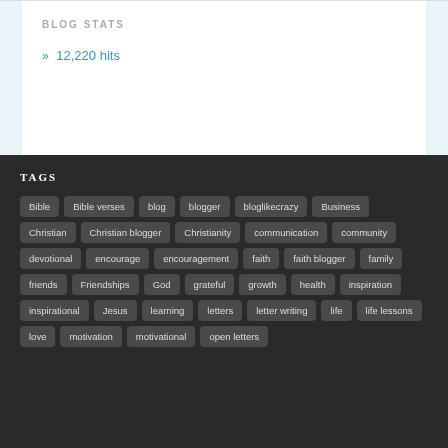BLOG STATS
» 12,220 hits
TAGS
Bible
Bible verses
blog
blogger
bloglikecrazy
Business
Christian
Christian blogger
Christianity
communication
community
devotional
encourage
encouragement
faith
faith blogger
family
friends
Friendships
God
grateful
growth
health
inspiration
inspirational
Jesus
learning
letters
letter writing
life
life lessons
love
motivation
motivational
open letters